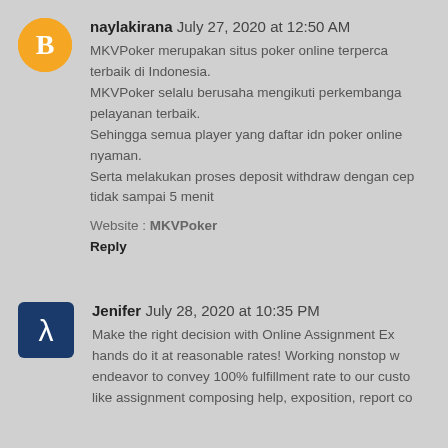naylakirana  July 27, 2020 at 12:50 AM
MKVPoker merupakan situs poker online terperca terbaik di Indonesia.
MKVPoker selalu berusaha mengikuti perkembanga pelayanan terbaik.
Sehingga semua player yang daftar idn poker online nyaman.
Serta melakukan proses deposit withdraw dengan cep tidak sampai 5 menit
Website : MKVPoker
Reply
Jenifer  July 28, 2020 at 10:35 PM
Make the right decision with Online Assignment Ex hands do it at reasonable rates! Working nonstop endeavor to convey 100% fulfillment rate to our custo like assignment composing help, exposition, report co